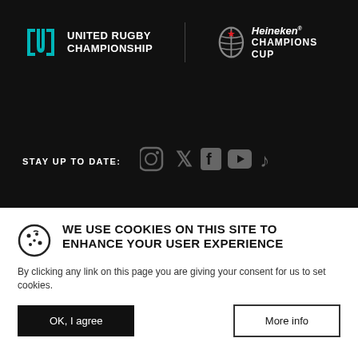[Figure (logo): United Rugby Championship logo - teal bracket/shield icon with white text 'UNITED RUGBY CHAMPIONSHIP']
[Figure (logo): Heineken Champions Cup logo - rugby ball with star and Heineken italic text with CHAMPIONS CUP below]
STAY UP TO DATE:
[Figure (infographic): Social media icons row: Instagram, Twitter, Facebook, YouTube, TikTok in dark grey]
WE USE COOKIES ON THIS SITE TO ENHANCE YOUR USER EXPERIENCE
By clicking any link on this page you are giving your consent for us to set cookies.
OK, I agree
More info